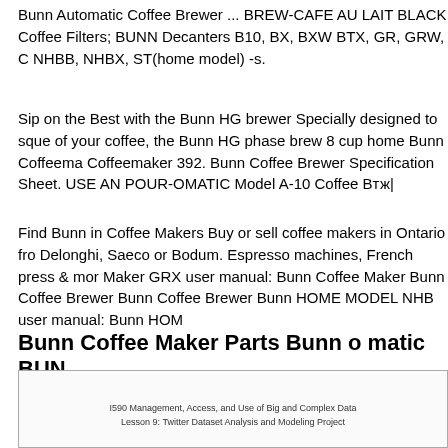Bunn Automatic Coffee Brewer ... BREW-CAFE AU LAIT BLACK Coffee Filters; BUNN Decanters B10, BX, BXW BTX, GR, GRW, C NHBB, NHBX, ST(home model) -s.
Sip on the Best with the Bunn HG brewer Specially designed to squeeze the best of your coffee, the Bunn HG phase brew 8 cup home Bunn Coffeemaker Coffeemaker 392. Bunn Coffee Brewer Specification Sheet. USE AN POUR-OMATIC Model A-10 Coffee Bтж|
Find Bunn in Coffee Makers Buy or sell coffee makers in Ontario fro Delonghi, Saeco or Bodum. Espresso machines, French press & mor Maker GRX user manual: Bunn Coffee Maker Bunn Coffee Brewer Coffee Brewer Bunn HOME MODEL NHB user manual: Bunn HOM
Bunn Coffee Maker Parts Bunn o matic BUN
[Figure (screenshot): A box/image area with text: I590 Management, Access, and Use of Big and Complex Data / Lesson 9: Twitter Dataset Analysis and Modeling Project]